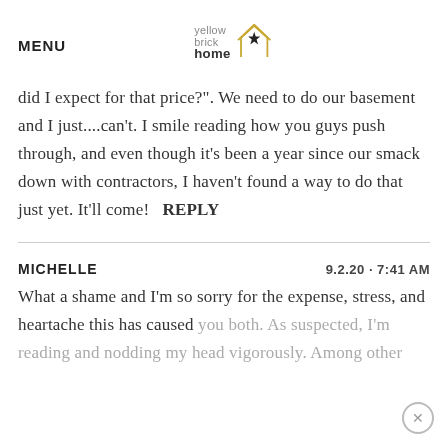MENU | yellow brick home (logo)
did I expect for that price?". We need to do our basement and I just....can't. I smile reading how you guys push through, and even though it's been a year since our smack down with contractors, I haven't found a way to do that just yet. It'll come!   REPLY
MICHELLE   9.2.20 · 7:41 AM
What a shame and I'm so sorry for the expense, stress, and heartache this has caused you both. As suspected, I'm reading and nodding my head vigorously. Among other